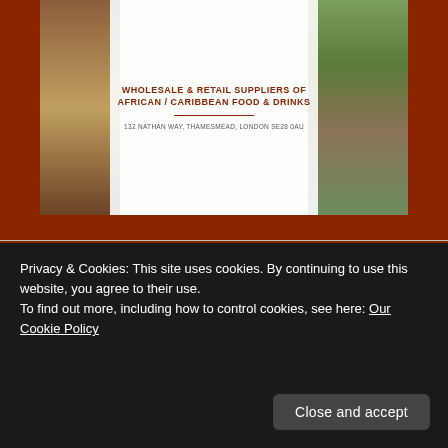[Figure (photo): Advertisement banner for wholesale & retail suppliers of African/Caribbean food & drinks, 132 Nathan Way, Thamesmead, London SE28 0AU, with food imagery on left and right sides]
BE PROSTATE CANCER AWARE
[Figure (logo): Prostate Cancer awareness logo on black background - figure made of people with blue text PROSTATE]
Privacy & Cookies: This site uses cookies. By continuing to use this website, you agree to their use.
To find out more, including how to control cookies, see here: Our Cookie Policy
Close and accept